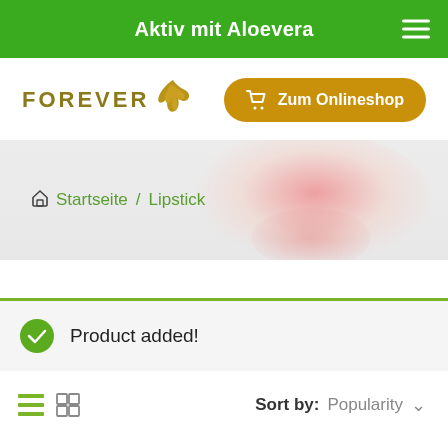Aktiv mit Aloevera
[Figure (logo): Forever Living Products logo with eagle and golden text, plus 'Zum Onlineshop' golden button]
[Figure (photo): Hero banner with blurred pink/red lipstick background and breadcrumb navigation: Home / Startseite / Lipstick]
Product added!
Sort by: Popularity